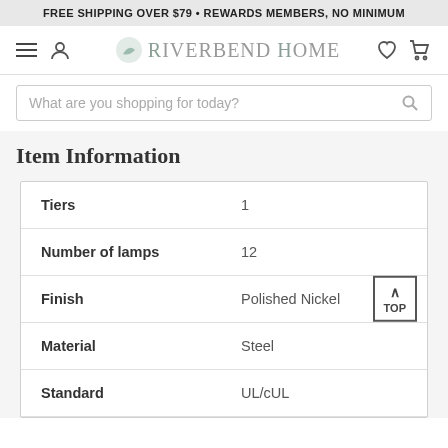FREE SHIPPING OVER $79 • REWARDS MEMBERS, NO MINIMUM
[Figure (logo): Riverbend Home logo with navigation icons (hamburger menu, user icon, heart, cart)]
What are you shopping for today?
Item Information
| Attribute | Value |
| --- | --- |
| Tiers | 1 |
| Number of lamps | 12 |
| Finish | Polished Nickel |
| Material | Steel |
| Standard | UL/cUL |